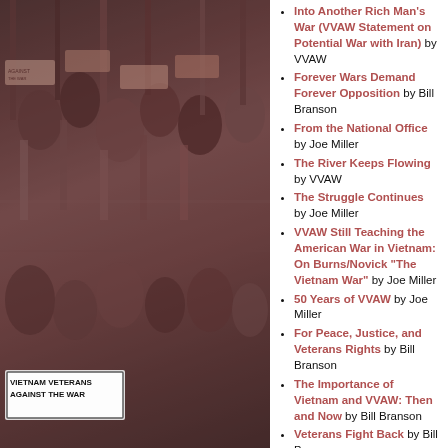[Figure (photo): Black and white photo tinted in sepia/reddish tones showing Vietnam Veterans Against the War protest march with signs including 'VIETNAM VETERANS AGAINST THE WAR']
Into Another Rich Man's War (VVAW Statement on Potential War with Iran) by VVAW
Forever Wars Demand Forever Opposition by Bill Branson
From the National Office by Joe Miller
The River Keeps Flowing by VVAW
The Struggle Continues by Joe Miller
VVAW Still Teaching the American War in Vietnam: On Burns/Novick "The Vietnam War" by Joe Miller
50 Years of VVAW by Joe Miller
For Peace, Justice, and Veterans Rights by Bill Branson
The Importance of Vietnam and VVAW: Then and Now by Bill Branson
Veterans Fight Back by Bill Branson
From the National Office by Bill Branson
No New War in the Middle East by Bill Branson
From the National Office by Bill